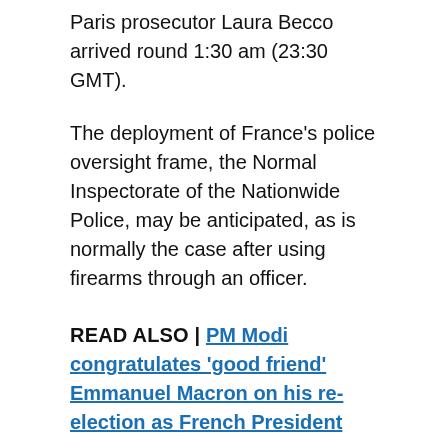Paris prosecutor Laura Becco arrived round 1:30 am (23:30 GMT).
The deployment of France's police oversight frame, the Normal Inspectorate of the Nationwide Police, may be anticipated, as is normally the case after using firearms through an officer.
READ ALSO | PM Modi congratulates 'good friend' Emmanuel Macron on his re-election as French President
[Figure (infographic): Social share buttons: Facebook, Tweet, Pin, LinkedIn, Email]
world